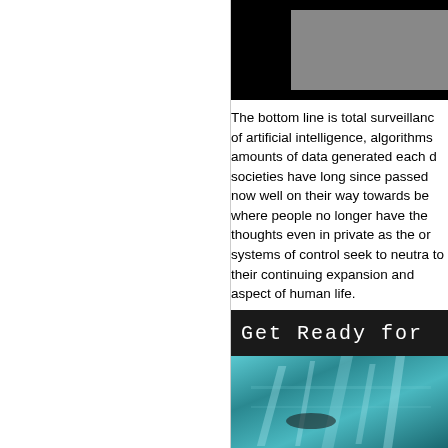[Figure (photo): Top partial image showing dark/black background with a grey rectangular element, partially cropped at the top of the right column]
The bottom line is total surveillance of artificial intelligence, algorithms, amounts of data generated each day societies have long since passed now well on their way towards be where people no longer have the thoughts even in private as the or systems of control seek to neutra to their continuing expansion and aspect of human life.
[Figure (screenshot): Screenshot image with dark title bar showing 'Get Ready for' text in monospace white font, and a teal/cyan blurred abstract background image below]